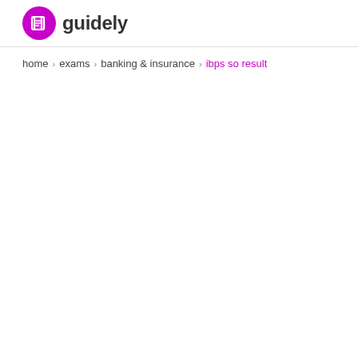[Figure (logo): Guidely logo: a magenta/purple circle with stylized 'G' book icon, followed by the text 'guidely' in dark gray]
home > exams > banking & insurance > ibps so result